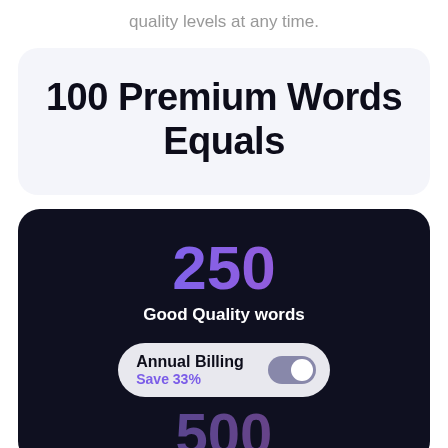quality levels at any time.
100 Premium Words Equals
250
Good Quality words
Annual Billing
Save 33%
500